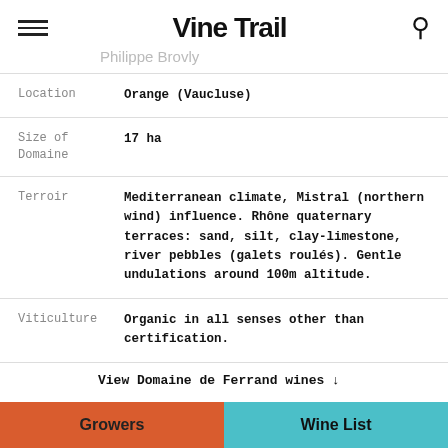Vine Trail
Philippe Brovly
| Label | Value |
| --- | --- |
| Location | Orange (Vaucluse) |
| Size of Domaine | 17 ha |
| Terroir | Mediterranean climate, Mistral (northern wind) influence. Rhône quaternary terraces: sand, silt, clay-limestone, river pebbles (galets roulés). Gentle undulations around 100m altitude. |
| Viticulture | Organic in all senses other than certification. |
View Domaine de Ferrand wines ↓
Domaine de Ferrand takes its name from its location in the cooler northern sector of the Châteauneuf-du-Pape
Growers  Wine List